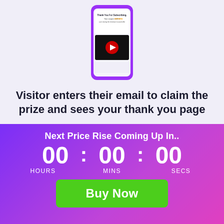[Figure (screenshot): Phone mockup showing a thank you page with a coupon code and video player with red play button, purple phone border]
Visitor enters their email to claim the prize and sees your thank you page
Next Price Rise Coming Up In..
00 : 00 : 00
HOURS   MINS   SECS
Buy Now